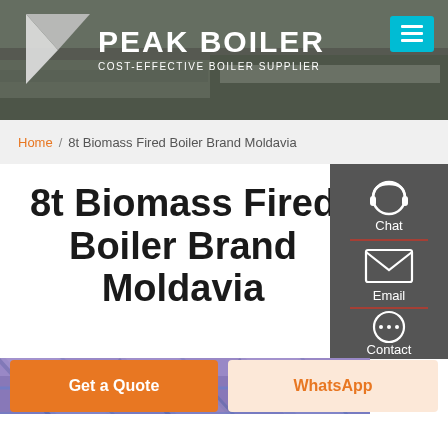[Figure (screenshot): Peak Boiler website header with company logo, tagline COST-EFFECTIVE BOILER SUPPLIER, building photo background, and teal hamburger menu button]
Home / 8t Biomass Fired Boiler Brand Moldavia
8t Biomass Fired Boiler Brand Moldavia
[Figure (screenshot): Sidebar contact panel with Chat (headset icon), Email (envelope icon), and Contact (speech bubble icon) options on dark grey background]
[Figure (photo): Interior industrial/greenhouse structure with purple and blue tinted roof panels]
Get a Quote
WhatsApp